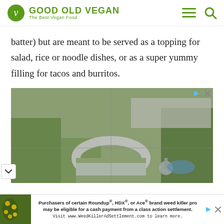GOOD OLD VEGAN — The Best Vegan Food
batter) but are meant to be served as a topping for salad, rice or noodle dishes, or as a super yummy filling for tacos and burritos.
[Figure (photo): Aerial photograph of an urban area with a distinctive circular/horseshoe-shaped building, surrounded by autumn trees, parking areas, and nearby residential/commercial buildings.]
[Figure (photo): Advertisement banner at the bottom of the page. Left side shows a plant with yellow flowers. Right side has text: 'Purchasers of certain Roundup®, HDX®, or Ace® brand weed killer products may be eligible for a cash payment from a class action settlement. Visit www.WeedKillerAdSettlement.com to learn more.']